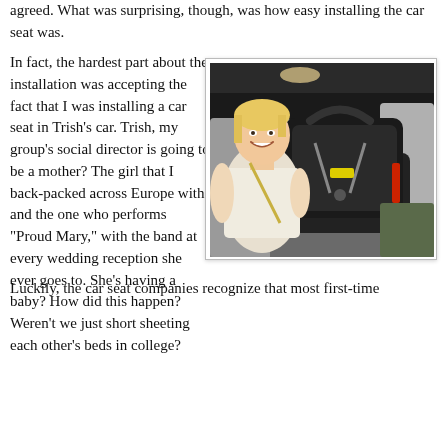agreed. What was surprising, though, was how easy installing the car seat was.
In fact, the hardest part about the installation was accepting the fact that I was installing a car seat in Trish's car. Trish, my group's social director is going to be a mother? The girl that I back-packed across Europe with and the one who performs "Proud Mary," with the band at every wedding reception she ever goes to. She's having a baby? How did this happen? Weren't we just short sheeting each other's beds in college?
[Figure (photo): A smiling blonde woman in the backseat of a vehicle, next to an infant car seat installed in the rear seat. The car has gray leather interior.]
Luckily, the car seat companies recognize that most first-time parents, like Trish, are hopelessly lost when they...